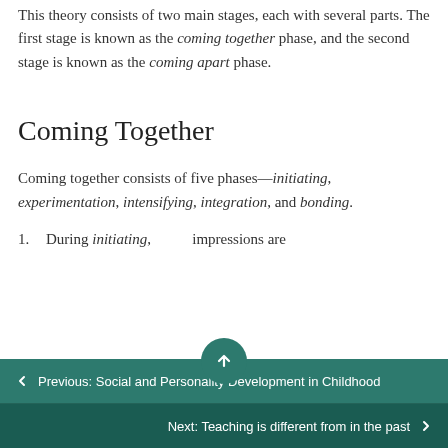This theory consists of two main stages, each with several parts. The first stage is known as the coming together phase, and the second stage is known as the coming apart phase.
Coming Together
Coming together consists of five phases—initiating, experimentation, intensifying, integration, and bonding.
1. During initiating, first impressions are
← Previous: Social and Personality Development in Childhood
Next: Teaching is different from in the past →